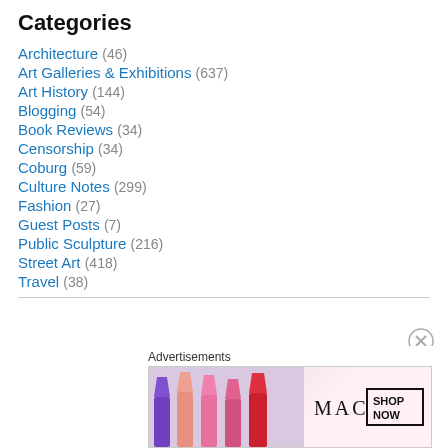Categories
Architecture (46)
Art Galleries & Exhibitions (637)
Art History (144)
Blogging (54)
Book Reviews (34)
Censorship (34)
Coburg (59)
Culture Notes (299)
Fashion (27)
Guest Posts (7)
Public Sculpture (216)
Street Art (418)
Travel (38)
Advertisements
[Figure (photo): MAC cosmetics advertisement banner showing lipsticks and SHOP NOW button]